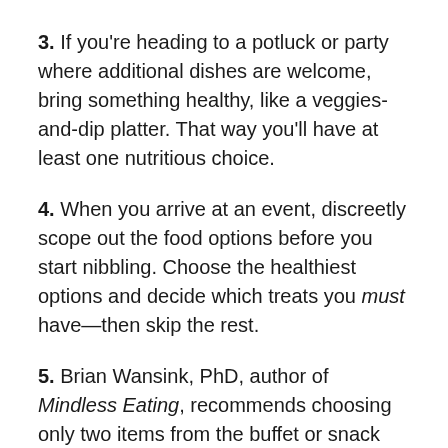3. If you're heading to a potluck or party where additional dishes are welcome, bring something healthy, like a veggies-and-dip platter. That way you'll have at least one nutritious choice.
4. When you arrive at an event, discreetly scope out the food options before you start nibbling. Choose the healthiest options and decide which treats you must have—then skip the rest.
5. Brian Wansink, PhD, author of Mindless Eating, recommends choosing only two items from the buffet or snack selection. (You can return as many times as you like, but stick with two items.) Research has shown that a variety of food can stimulate your appetite, and this will prevent that stimulation.